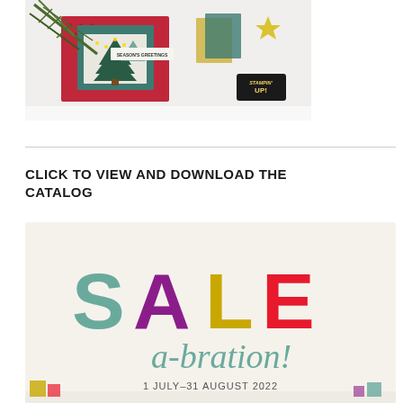[Figure (photo): Photo of a holiday Christmas card craft scene with green trees, red patterned paper, pine branches, and a Stampin Up logo badge. A label reads SEASONS GREETINGS.]
CLICK TO VIEW AND DOWNLOAD THE CATALOG
[Figure (illustration): Sale-a-bration promotional banner with large colorful letters SALE in teal, purple, yellow, and red, followed by a-bration! in teal italic script, and the text 1 JULY–31 AUGUST 2022 below.]